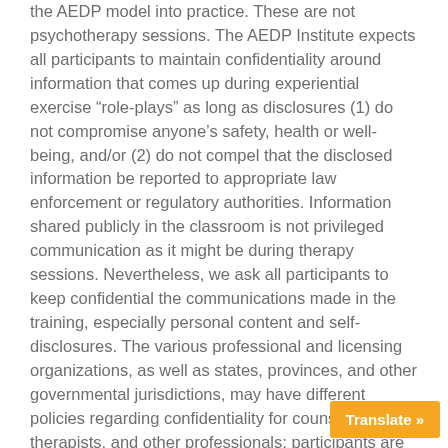the AEDP model into practice. These are not psychotherapy sessions. The AEDP Institute expects all participants to maintain confidentiality around information that comes up during experiential exercise “role-plays” as long as disclosures (1) do not compromise anyone’s safety, health or well-being, and/or (2) do not compel that the disclosed information be reported to appropriate law enforcement or regulatory authorities. Information shared publicly in the classroom is not privileged communication as it might be during therapy sessions. Nevertheless, we ask all participants to keep confidential the communications made in the training, especially personal content and self-disclosures. The various professional and licensing organizations, as well as states, provinces, and other governmental jurisdictions, may have different policies regarding confidentiality for counselors, therapists, and other professionals; participants are respons… their particular and applicable governin…